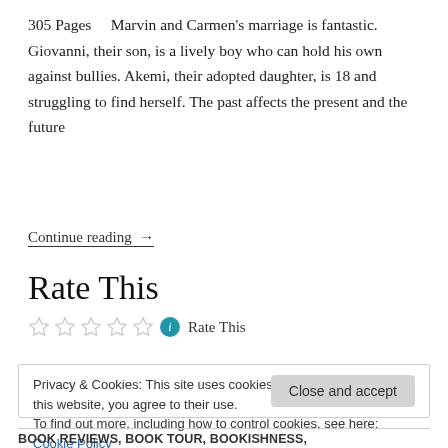305 Pages    Marvin and Carmen's marriage is fantastic. Giovanni, their son, is a lively boy who can hold his own against bullies. Akemi, their adopted daughter, is 18 and struggling to find herself. The past affects the present and the future
Continue reading →
Rate This
☆☆☆☆☆ ℹ Rate This
Privacy & Cookies: This site uses cookies. By continuing to use this website, you agree to their use.
To find out more, including how to control cookies, see here: Cookie Policy
Close and accept
BOOK REVIEWS, BOOK TOUR, BOOKISHNESS,